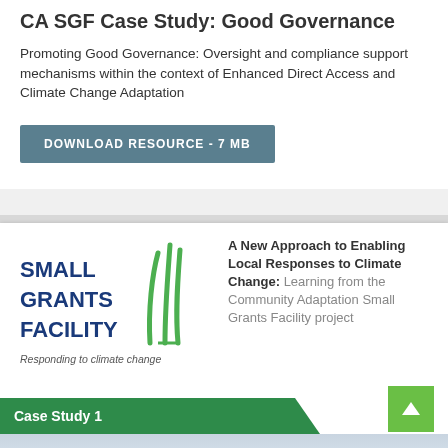CA SGF Case Study: Good Governance
Promoting Good Governance: Oversight and compliance support mechanisms within the context of Enhanced Direct Access and Climate Change Adaptation
DOWNLOAD RESOURCE - 7 MB
[Figure (logo): Small Grants Facility logo with text SMALL GRANTS FACILITY and tagline Responding to climate change, with green grass/plant icon]
A New Approach to Enabling Local Responses to Climate Change: Learning from the Community Adaptation Small Grants Facility project
Case Study 1